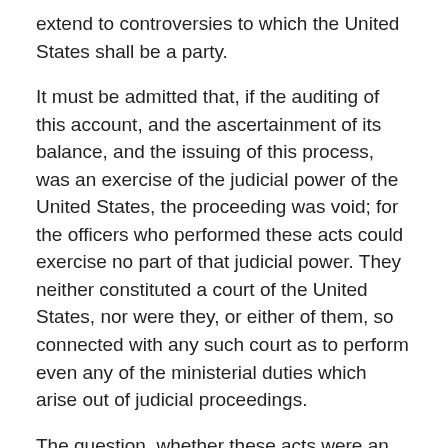extend to controversies to which the United States shall be a party.
It must be admitted that, if the auditing of this account, and the ascertainment of its balance, and the issuing of this process, was an exercise of the judicial power of the United States, the proceeding was void; for the officers who performed these acts could exercise no part of that judicial power. They neither constituted a court of the United States, nor were they, or either of them, so connected with any such court as to perform even any of the ministerial duties which arise out of judicial proceedings.
The question, whether these acts were an exercise of the judicial power of the United States, can best be considered under another inquiry, raised by the further objection of the plaintiff, that the effect of the proceedings authorized by the act in question is to deprive the party, against whom the warrant issues, of his liberty and property, without due